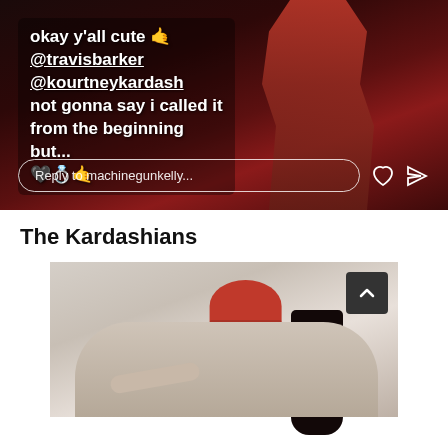[Figure (screenshot): Instagram story screenshot showing text overlay on dark red background with a figure. Text reads: 'okay y'all cute @travisbarker @kourtneykardash not gonna say i called it from the beginning but...' with heart, ring, and hand emoji. A 'Reply to machinegunkelly...' input bar at the bottom with heart and send icons.]
The Kardashians
[Figure (photo): Photo of two people, one wearing a red beanie hat, embracing or kissing on a couch. Dark hair visible on one person. Beige/neutral couch background. A dark scroll-to-top button with an up caret visible in upper right corner.]